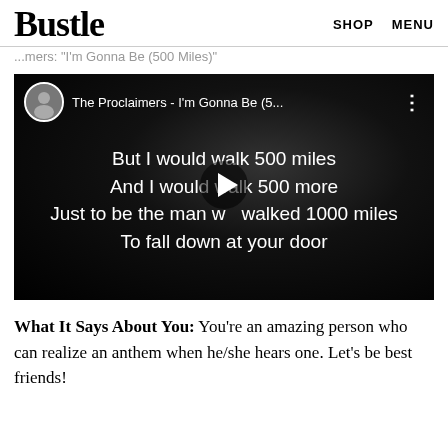Bustle | SHOP | MENU
...mers: "I'm Gonna Be (500 Miles)"
[Figure (screenshot): YouTube video embed showing The Proclaimers - I'm Gonna Be (5... with lyrics displayed: 'But I would walk 500 miles / And I would walk 500 more / Just to be the man who walked 1000 miles / To fall down at your door'. A play button triangle is visible in the center.]
What It Says About You: You're an amazing person who can realize an anthem when he/she hears one. Let's be best friends!